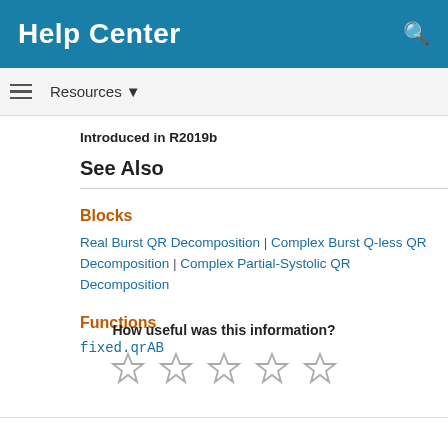Help Center
Resources
Introduced in R2019b
See Also
Blocks
Real Burst QR Decomposition | Complex Burst Q-less QR Decomposition | Complex Partial-Systolic QR Decomposition
Functions
fixed.qrAB
How useful was this information?